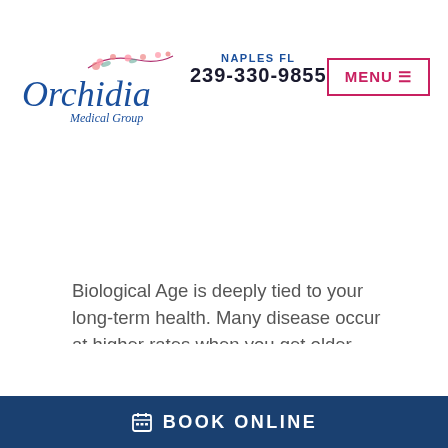AGE-RELATED DISEASES IN HALF
[Figure (logo): Orchidia Medical Group logo with floral decoration and cursive blue text]
NAPLES FL
239-330-9855
MENU ≡
Biological Age is deeply tied to your long-term health. Many disease occur at higher rates when you get older, because more and more of your cells aren't functioning the way they should.
A higher Biological Age is correlated with a higher risk of developing age-related diseases (like Alzheimer's Disease and Cancers). A lower Biological Age is correlated with reduced risk of disease, and
📅 BOOK ONLINE